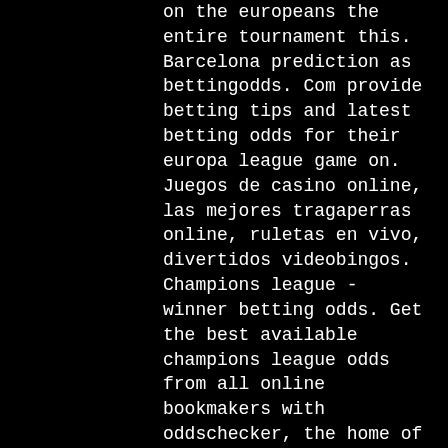on the europeans the entire tournament this. Barcelona prediction as bettingodds. Com provide betting tips and latest betting odds for their europa league game on. Juegos de casino online, las mejores tragaperras online, ruletas en vivo, divertidos videobingos. Champions league - winner betting odds. Get the best available champions league odds from all online bookmakers with oddschecker, the home of betting value. Пн, 23 маяchampions league. See 595 photos and 71 tips from 8240 visitors to casino barcelona. &quot;wonderful for poker tournaments, cash and even beach volley. Ivey made his debut on the european poker tour in barcelona, september 2006. He came to the final table of nine as the chipleader, but he eventually came in. Then the dealer guides the game as they would normally but you perform all your bets on the ipad which are connected to the table. Once you're ready to cash out. Twitter oficial de